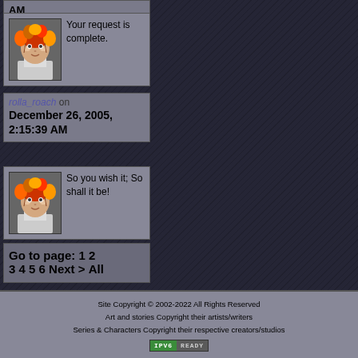AM
[Figure (illustration): Anime-style avatar with colorful hair and face paint]
Your request is complete.
rolla_roach on December 26, 2005, 2:15:39 AM
[Figure (illustration): Anime-style avatar with colorful hair and face paint]
So you wish it; So shall it be!
Go to page: 1 2 3 4 5 6 Next > All
Site Copyright © 2002-2022 All Rights Reserved
Art and stories Copyright their artists/writers
Series & Characters Copyright their respective creators/studios